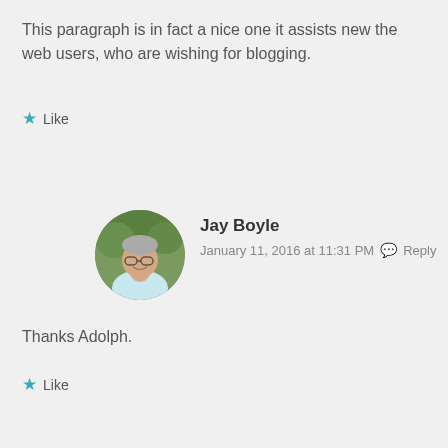This paragraph is in fact a nice one it assists new the web users, who are wishing for blogging.
★ Like
[Figure (photo): Circular avatar photo of Jay Boyle, a man with glasses and gray hair, wearing a light blue shirt, outdoors with green foliage background]
Jay Boyle
January 11, 2016 at 11:31 PM  💬 Reply
Thanks Adolph.
★ Like